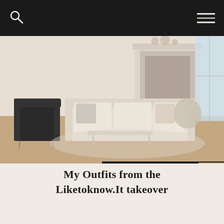[Figure (photo): A bright, elegant living room with a cream/beige sofa, herringbone wood floor, dark accent chair, fireplace, and large windows. The room is styled in a neutral, luxurious palette.]
My Outfits from the Liketoknow.It takeover